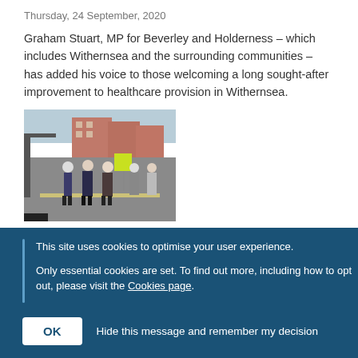Thursday, 24 September, 2020
Graham Stuart, MP for Beverley and Holderness – which includes Withernsea and the surrounding communities – has added his voice to those welcoming a long sought-after improvement to healthcare provision in Withernsea.
[Figure (photo): Photo of people walking on a street, some holding yellow signs, with brick buildings in the background.]
This site uses cookies to optimise your user experience.

Only essential cookies are set. To find out more, including how to opt out, please visit the Cookies page.
OK    Hide this message and remember my decision